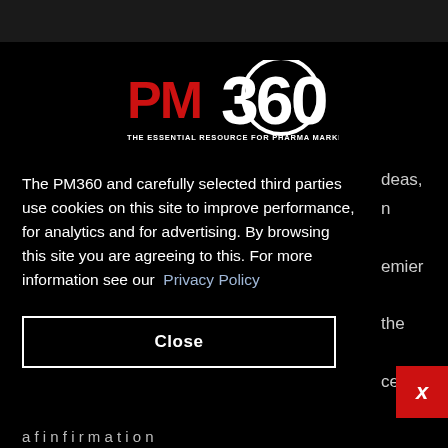[Figure (logo): PM360 logo — red bold 'PM' text with large white '360' and tagline 'THE ESSENTIAL RESOURCE FOR PHARMA MARKETERS' on black background]
The PM360 and carefully selected third parties use cookies on this site to improve performance, for analytics and for advertising. By browsing this site you are agreeing to this. For more information see our Privacy Policy
Close